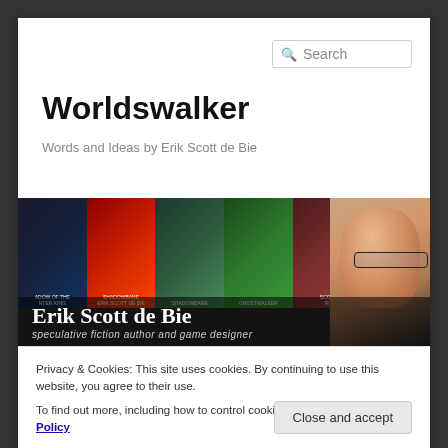Search
Worldswalker
Words and Ideas by Erik Scott de Bie
[Figure (photo): Website banner with book covers and author photo of Erik Scott de Bie, described as speculative fiction author and game designer]
Privacy & Cookies: This site uses cookies. By continuing to use this website, you agree to their use.
To find out more, including how to control cookies, see here: Cookie Policy
Close and accept